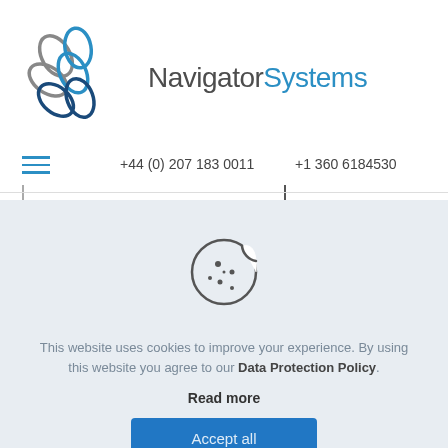[Figure (logo): Navigator Systems logo with stylized leaf/petal shapes in gray and blue, and company name 'NavigatorSystems' in gray and blue sans-serif text]
+44 (0) 207 183 0011
+1 360 6184530
[Figure (illustration): Cookie icon: circular cookie outline with a bite taken out, dotted with small circles representing chocolate chips]
This website uses cookies to improve your experience. By using this website you agree to our Data Protection Policy.
Read more
Accept all